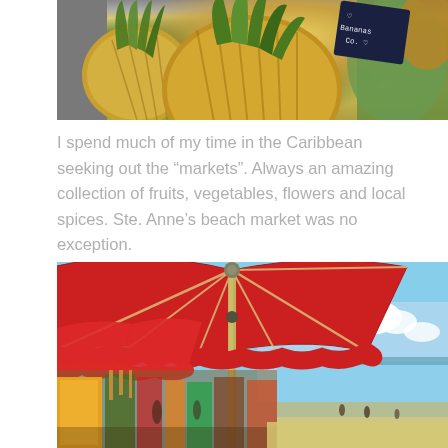[Figure (photo): Close-up photograph of pineapples at a Caribbean market stand, with a chalkboard sign visible in the upper right corner]
I spend much of my time in the Caribbean seeking out the “markets”. Always an amazing collection of fruits, vegetables, flowers and local spices. Ste. Anne’s beach market was no exception.
[Figure (photo): A beach market scene with large red umbrellas/canopy overhead, colorful market stalls below selling various goods, and the Caribbean beach and ocean visible in the background on the right]